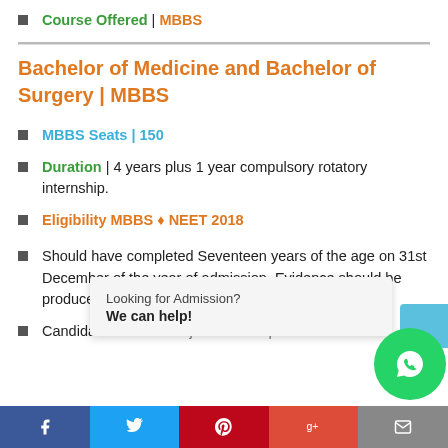Course Offered | MBBS
Bachelor of Medicine and Bachelor of Surgery | MBBS
MBBS Seats | 150
Duration | 4 years plus 1 year compulsory rotatory internship.
Eligibility MBBS ♦ NEET 2018
Should have completed Seventeen years of the age on 31st December of the year of admission. Evidence should be produced.
Candidates should [subjects of the qualifying Higher Secondary...]
Looking for Admission? We can help!
Facebook | Twitter | Pinterest | Google+ | Mail